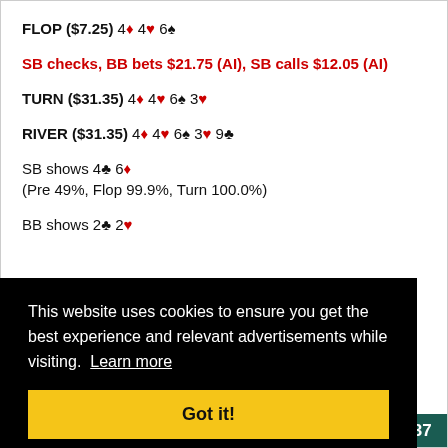FLOP ($7.25) 4♦ 4♥ 6♠
SB checks, BB bets $21.75 (AI), SB calls $12.05 (AI)
TURN ($31.35) 4♦ 4♥ 6♠ 3♥
RIVER ($31.35) 4♦ 4♥ 6♠ 3♥ 9♣
SB shows 4♣ 6♦
(Pre 49%, Flop 99.9%, Turn 100.0%)
BB shows 2♣ 2♥
This website uses cookies to ensure you get the best experience and relevant advertisements while visiting. Learn more
Got it!
#8437
Mark89er